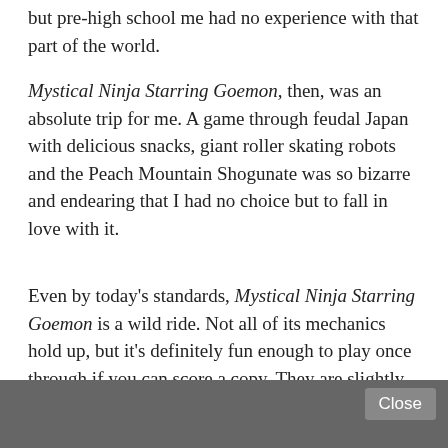but pre-high school me had no experience with that part of the world.
Mystical Ninja Starring Goemon, then, was an absolute trip for me. A game through feudal Japan with delicious snacks, giant roller skating robots and the Peach Mountain Shogunate was so bizarre and endearing that I had no choice but to fall in love with it.
Even by today's standards, Mystical Ninja Starring Goemon is a wild ride. Not all of its mechanics hold up, but it's definitely fun enough to play once through if you can score a copy. They are slightly hard to come by in good condition.